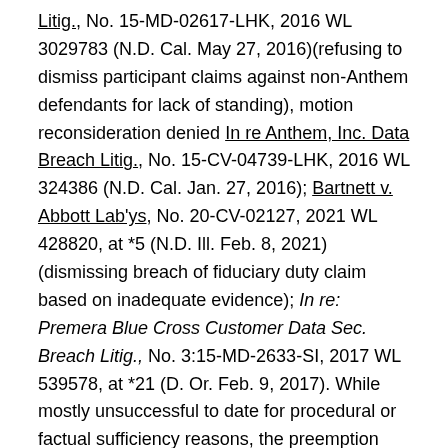Litig., No. 15-MD-02617-LHK, 2016 WL 3029783 (N.D. Cal. May 27, 2016)(refusing to dismiss participant claims against non-Anthem defendants for lack of standing), motion reconsideration denied In re Anthem, Inc. Data Breach Litig., No. 15-CV-04739-LHK, 2016 WL 324386 (N.D. Cal. Jan. 27, 2016); Bartnett v. Abbott Lab'ys, No. 20-CV-02127, 2021 WL 428820, at *5 (N.D. Ill. Feb. 8, 2021) (dismissing breach of fiduciary duty claim based on inadequate evidence); In re: Premera Blue Cross Customer Data Sec. Breach Litig., No. 3:15-MD-2633-SI, 2017 WL 539578, at *21 (D. Or. Feb. 9, 2017). While mostly unsuccessful to date for procedural or factual sufficiency reasons, the preemption issues argued in many of these cases support concerns that under the proper circumstances ERISA could apply to breaches involving plans or their participants. As these and other actions